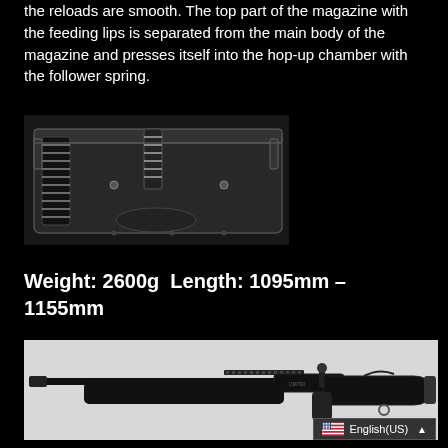the reloads are smooth. The top part of the magazine with the feeding lips is separated from the main body of the magazine and presses itself into the hop-up chamber with the follower spring.
[Figure (photo): Transparent airsoft magazine showing internal spring and follower mechanism, viewed from the side in grayscale]
Weight: 2600g  Length: 1095mm - 1155mm
[Figure (photo): Black bolt-action sniper rifle (airsoft) shown in side profile on white/light grey background]
English(US)